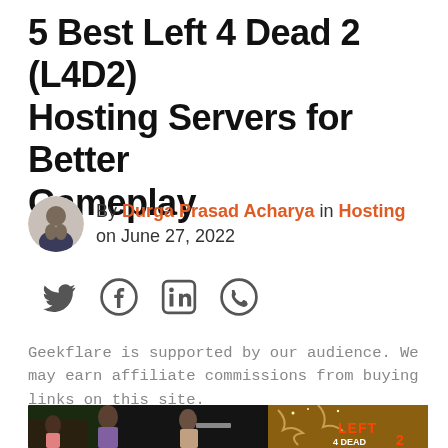5 Best Left 4 Dead 2 (L4D2) Hosting Servers for Better Gameplay
By Durga Prasad Acharya in Hosting on June 27, 2022
[Figure (other): Social share icons: Twitter, Facebook, LinkedIn, WhatsApp]
Geekflare is supported by our audience. We may earn affiliate commissions from buying links on this site.
[Figure (photo): Left 4 Dead 2 game screenshot showing characters in a dark scene with the Left 4 Dead 2 logo on the right side]